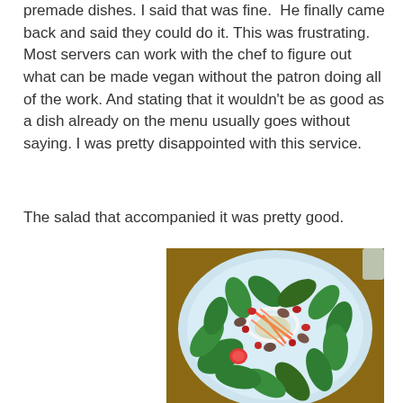premade dishes. I said that was fine.  He finally came back and said they could do it. This was frustrating. Most servers can work with the chef to figure out what can be made vegan without the patron doing all of the work. And stating that it wouldn't be as good as a dish already on the menu usually goes without saying. I was pretty disappointed with this service.
The salad that accompanied it was pretty good.
[Figure (photo): A photo of a salad on a white plate, containing fresh spinach leaves, shredded carrots, dried cranberries, nuts, and onion rings, with dressing, on a wooden table.]